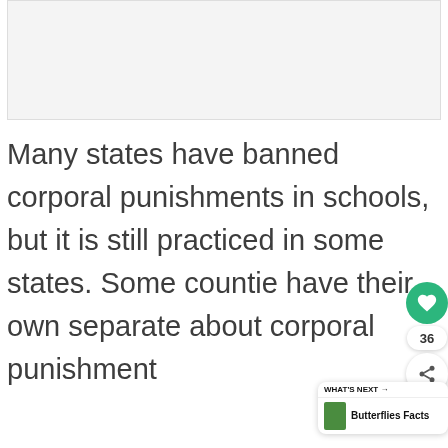[Figure (other): Advertisement banner placeholder area (light gray rectangle)]
Many states have banned corporal punishments in schools, but it is still practiced in some states. Some counties have their own separate about corporal punishment